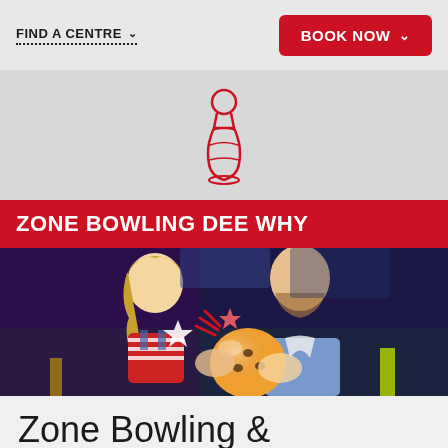FIND A CENTRE  ∨
BOOK NOW  ∨
[Figure (illustration): Red outline bowling pin icon on grey background]
ZONE BOWLING DEE WHY
[Figure (photo): A young girl and a man smiling together at a bowling alley, holding a bowling ball with animated star graphic overlays, colorful neon bowling alley background]
Zone Bowling &